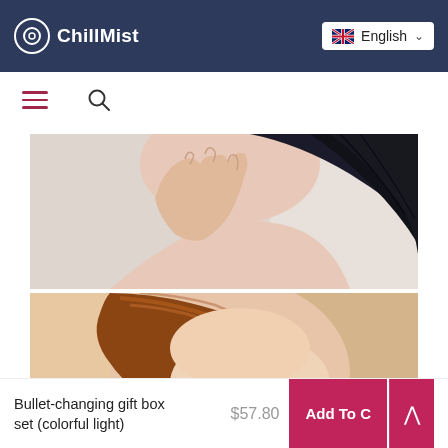ChillMist — English language selector
[Figure (photo): Close-up photo of a woman's hand near her neck/ear, with dark hair visible, light background — product model shot]
[Figure (photo): Close-up photo of a woman's head with auburn/brown hair against a beige background — product model shot]
Bullet-changing gift box set (colorful light)
$57.80
Add To Cart